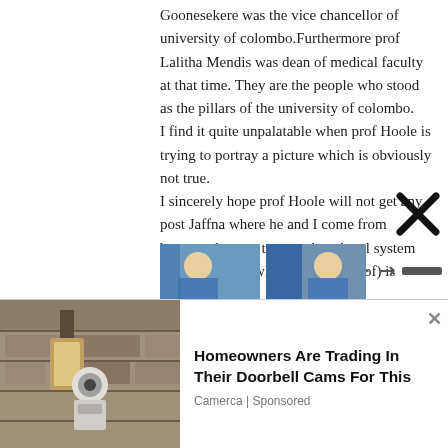Goonesekere was the vice chancellor of university of colombo.Furthermore prof Lalitha Mendis was dean of medical faculty at that time. They are the people who stood as the pillars of the university of colombo.
I find it quite unpalatable when prof Hoole is trying to portray a picture which is obviously not true.
I sincerely hope prof Hoole will not get any post Jaffna where he and I come from because damage to our educational system (free education which I am proud of) is already done.
[Figure (photo): Advertisement with photo of outdoor security camera on wall, promoting doorbell camera product by Camerca]
Homeowners Are Trading In Their Doorbell Cams For This
Camerca | Sponsored